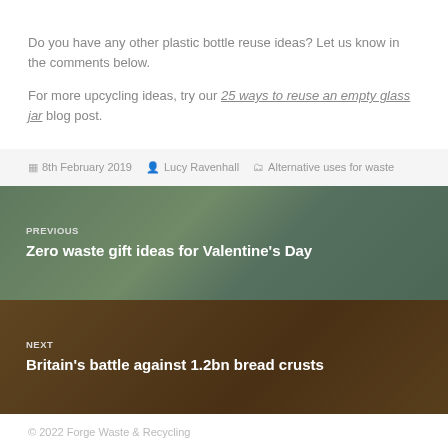Do you have any other plastic bottle reuse ideas? Let us know in the comments below.
For more upcycling ideas, try our 25 ways to reuse an empty glass jar blog post.
8th February 2019   Lucy Ravenhall   Alternative uses for waste
[Figure (photo): PREVIOUS navigation block with photo of couple smiling outdoors, overlaid with text 'Zero waste gift ideas for Valentine's Day']
[Figure (photo): NEXT navigation block with photo of bread, overlaid with text 'Britain's battle against 1.2bn bread crusts']
© 2022 Forge Waste & Recycling